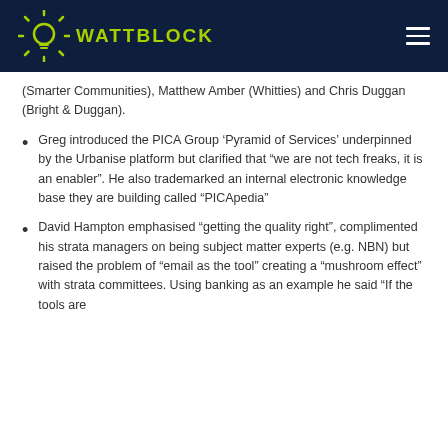WATTBLOCK
(Smarter Communities), Matthew Amber (Whitties) and Chris Duggan (Bright & Duggan).
Greg introduced the PICA Group ‘Pyramid of Services’ underpinned by the Urbanise platform but clarified that “we are not tech freaks, it is an enabler”. He also trademarked an internal electronic knowledge base they are building called “PICApedia”
David Hampton emphasised “getting the quality right”, complimented his strata managers on being subject matter experts (e.g. NBN) but raised the problem of “email as the tool” creating a “mushroom effect” with strata committees. Using banking as an example he said “If the tools are